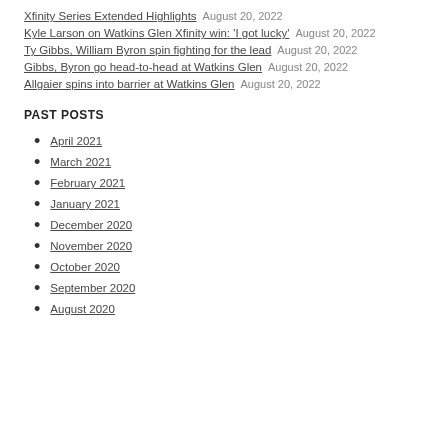Xfinity Series Extended Highlights  August 20, 2022
Kyle Larson on Watkins Glen Xfinity win: 'I got lucky'  August 20, 2022
Ty Gibbs, William Byron spin fighting for the lead  August 20, 2022
Gibbs, Byron go head-to-head at Watkins Glen  August 20, 2022
Allgaier spins into barrier at Watkins Glen  August 20, 2022
PAST POSTS
April 2021
March 2021
February 2021
January 2021
December 2020
November 2020
October 2020
September 2020
August 2020